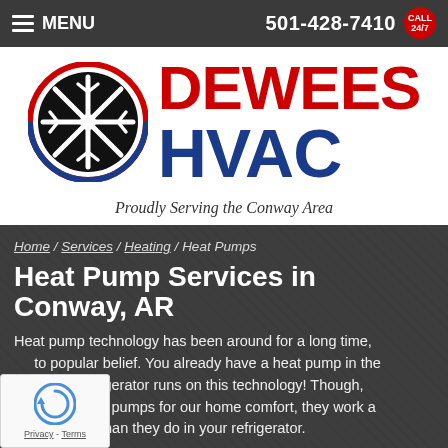MENU | 501-428-7410 CALL 24/7
[Figure (logo): Dewees HVAC logo with snowflake icon in black circle with red/blue ring, DEWEES in red and HVAC in blue text]
Proudly Serving the Conway Area
Home / Services / Heating / Heat Pumps
Heat Pump Services in Conway, AR
Heat pump technology has been around for a long time, to popular belief. You already have a heat pump in the at your refrigerator runs on this technology! Though, e utilize heat pumps for our home comfort, they work a lot differently than they do in your refrigerator.